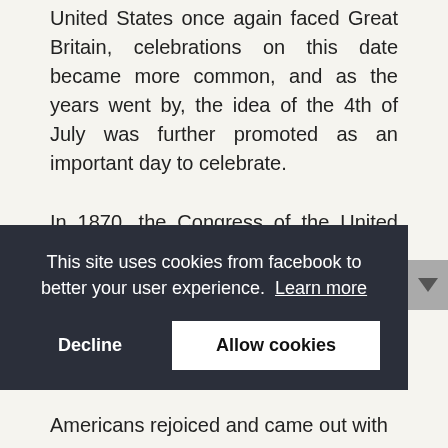United States once again faced Great Britain, celebrations on this date became more common, and as the years went by, the idea of the 4th of July was further promoted as an important day to celebrate.
In 1870, the Congress of the United States declared a federal holiday on
[Figure (screenshot): Cookie consent banner overlay with dark background reading 'This site uses cookies from facebook to better your user experience. Learn more' with Decline and Allow cookies buttons]
Americans rejoiced and came out with